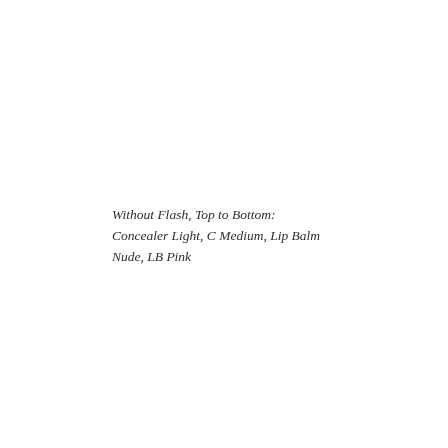Without Flash, Top to Bottom: Concealer Light, C Medium, Lip Balm Nude, LB Pink